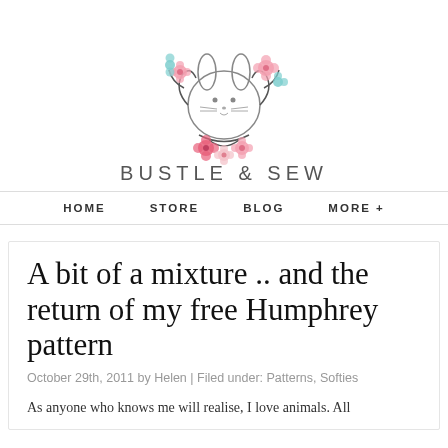[Figure (logo): Bustle & Sew logo: a cute cartoon bunny face surrounded by a wreath of pink and teal flowers and dark branches]
BUSTLE & SEW
HOME   STORE   BLOG   MORE +
A bit of a mixture .. and the return of my free Humphrey pattern
October 29th, 2011 by Helen | Filed under: Patterns, Softies
As anyone who knows me will realise, I love animals. All